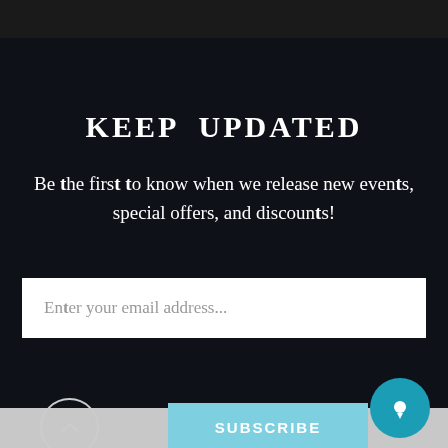KEEP UPDATED
Be the first to know when we release new events, special offers, and discounts!
Enter your email address...
SUBSCRIBE